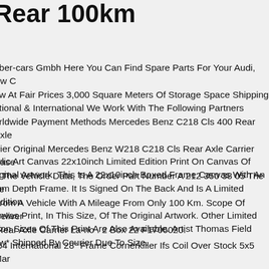Rear 100km
eber-cars Gmbh Here You Can Find Spare Parts For Your Audi, Vw C nw At Fair Prices 3,000 Square Meters Of Storage Space Shipping ational & International We Work With The Following Partners orldwide Payment Methods Mercedes Benz C218 Cls 400 Rear Axle rrier Original Mercedes Benz W218 C218 Cls Rear Axle Carrier Base n The Vehicle Data, The Order Part Number A 212 350 38 05 The Ite From A Vehicle With A Mileage From Only 100 Km. Scope Of Deliver  Rear Axle Carrier La-no . 2 Box 22 F1706020.
rylic Art Canvas 22x10inch Limited Edition Print On Canvas Of riginal Artwork. This Is A 22x10inch Boxed Frame Canvas With An mm Depth Frame. It Is Signed On The Back And Is A Limited Edition anvas Print, In This Size, Of The Original Artwork. Other Limited ition Sizes Of This Print Are Also Available. Artist Thomas Field ew* Shipped By Courier Due To Size.
-54 International 28" Frame Cornerkiller Ifs Coil Over Stock 5x5 Mar Rack. Platform Cornerkiller Custom Ifs. Bolt Pattern Gmford 5x5.